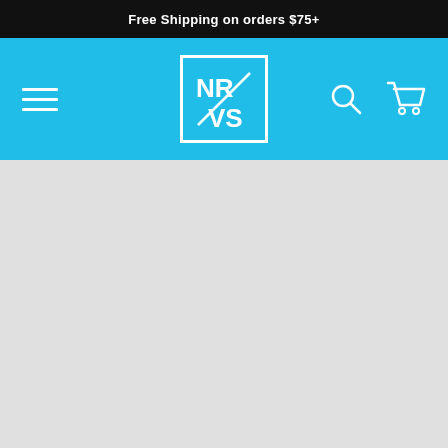Free Shipping on orders $75+
[Figure (logo): NR VS logo in white on cyan/blue navigation bar with hamburger menu, search icon, and cart icon]
[Figure (other): Large gray/empty content area below navigation]